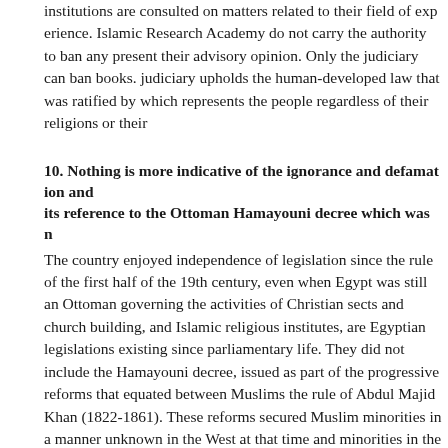institutions are consulted on matters related to their field of expertise. Islamic Research Academy do not carry the authority to ban any book, they present their advisory opinion. Only the judiciary can ban books. The judiciary upholds the human-developed law that was ratified by parliament which represents the people regardless of their religions or their...
10. Nothing is more indicative of the ignorance and defamation than its reference to the Ottoman Hamayouni decree which was n...
The country enjoyed independence of legislation since the rule of the first half of the 19th century, even when Egypt was still an Ottoman governing the activities of Christian sects and church building, and Islamic religious institutes, are Egyptian legislations existing since parliamentary life. They did not include the Hamayouni decree, issued as part of the progressive reforms that equated between Muslims the rule of Abdul Majid Khan (1822-1861). These reforms secured Muslim minorities in a manner unknown in the West at that time and minorities in the West until today.
11. The report makes a demand to increase Coptic Egyptian...